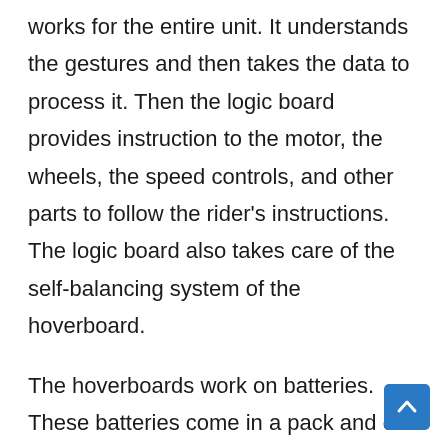works for the entire unit. It understands the gestures and then takes the data to process it. Then the logic board provides instruction to the motor, the wheels, the speed controls, and other parts to follow the rider's instructions. The logic board also takes care of the self-balancing system of the hoverboard.
The hoverboards work on batteries. These batteries come in a pack and can be charged again through the charging port on the hoverboard.
This is how a hoverboard works.